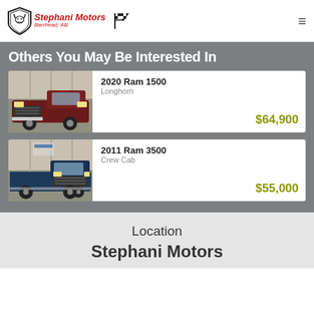Stephani Motors Barrhead, AB
Others You May Be Interested In
[Figure (photo): 2020 Ram 1500 Longhorn dark red truck photographed inside a dealership garage]
2020 Ram 1500
Longhorn
$64,900
[Figure (photo): 2011 Ram 3500 Crew Cab dark blue truck photographed inside a dealership garage]
2011 Ram 3500
Crew Cab
$55,000
Location
Stephani Motors